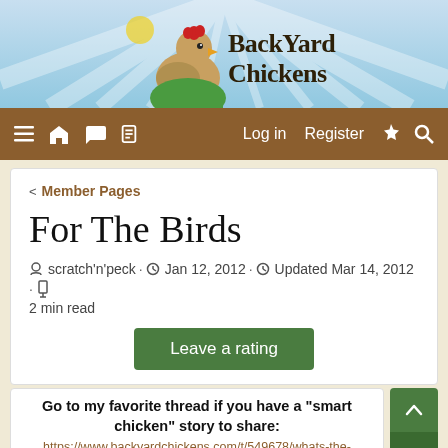[Figure (screenshot): BackYard Chickens website header with chicken logo and site name, navigation bar with menu icons, Log in, Register links]
< Member Pages
For The Birds
scratch'n'peck · Jan 12, 2012 · Updated Mar 14, 2012 · 2 min read
Leave a rating
Go to my favorite thread if you have a "smart chicken" story to share:
https://www.backyardchickens.com/t/549678/whats-the-smartest-thing-youve-seen-a-chicken-do
Our home came with chickens